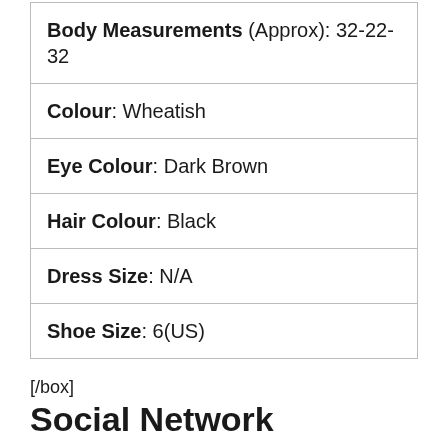| Body Measurements (Approx): 32-22-32 |
| Colour: Wheatish |
| Eye Colour: Dark Brown |
| Hair Colour: Black |
| Dress Size: N/A |
| Shoe Size: 6(US) |
[/box]
Social Network
She created her account on myspace but it is not active now, however she is using her Twitter account and her official website https://amritarao.website/ is active